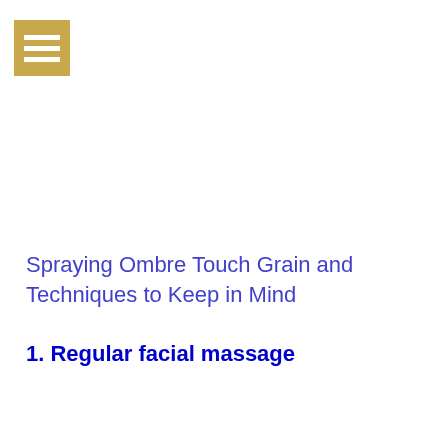[Figure (other): Golden/tan colored hamburger menu icon with three white horizontal bars on a square background]
Spraying Ombre Touch Grain and Techniques to Keep in Mind
1. Regular facial massage